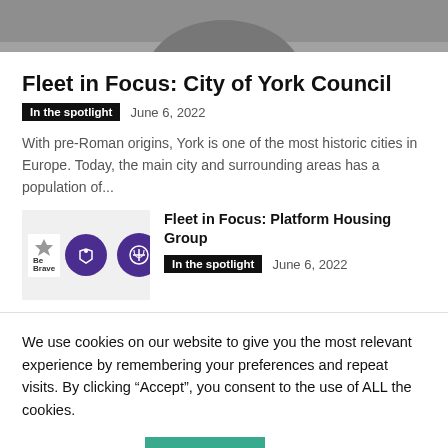[Figure (photo): Partial photo of a person, cropped at top of page]
Fleet in Focus: City of York Council
In the spotlight   June 6, 2022
With pre-Roman origins, York is one of the most historic cities in Europe. Today, the main city and surrounding areas has a population of...
[Figure (photo): Thumbnail image showing purple circular logos with icons and 'Be Brave' text badge]
Fleet in Focus: Platform Housing Group
In the spotlight   June 6, 2022
We use cookies on our website to give you the most relevant experience by remembering your preferences and repeat visits. By clicking “Accept”, you consent to the use of ALL the cookies.
Cookie settings   ACCEPT